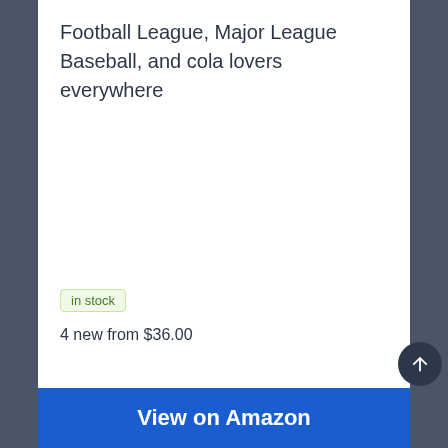Football League, Major League Baseball, and cola lovers everywhere
in stock
4 new from $36.00
View on Amazon